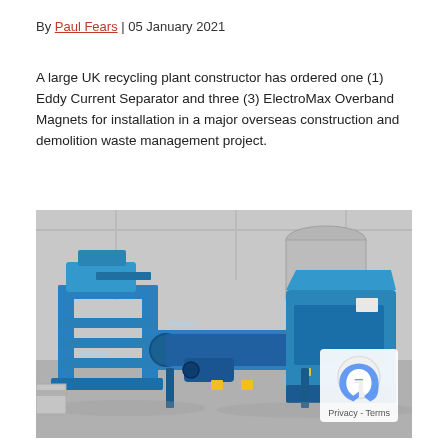By Paul Fears | 05 January 2021
A large UK recycling plant constructor has ordered one (1) Eddy Current Separator and three (3) ElectroMax Overband Magnets for installation in a major overseas construction and demolition waste management project.
[Figure (photo): Industrial blue eddy current separator and overband magnet equipment (branded BUNTING) on a factory floor, photographed in a warehouse setting.]